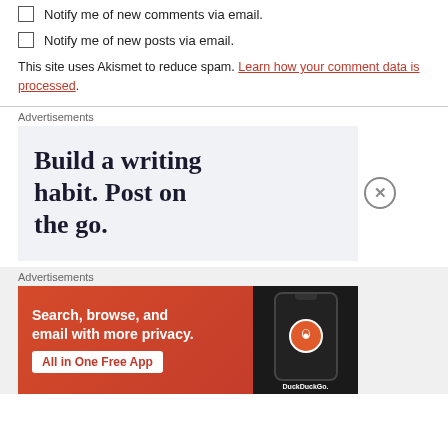Notify me of new comments via email.
Notify me of new posts via email.
This site uses Akismet to reduce spam. Learn how your comment data is processed.
Advertisements
[Figure (screenshot): Ad: Build a writing habit. Post on the go.]
Advertisements
[Figure (screenshot): DuckDuckGo ad: Search, browse, and email with more privacy. All in One Free App.]